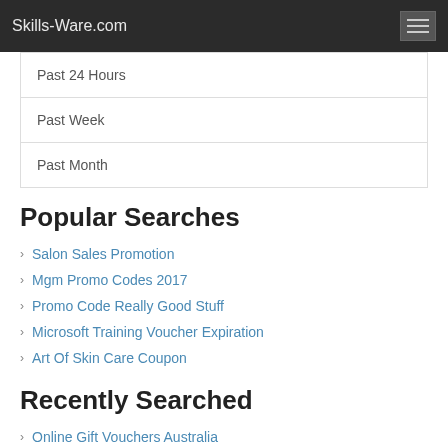Skills-Ware.com
Past 24 Hours
Past Week
Past Month
Popular Searches
Salon Sales Promotion
Mgm Promo Codes 2017
Promo Code Really Good Stuff
Microsoft Training Voucher Expiration
Art Of Skin Care Coupon
Recently Searched
Online Gift Vouchers Australia